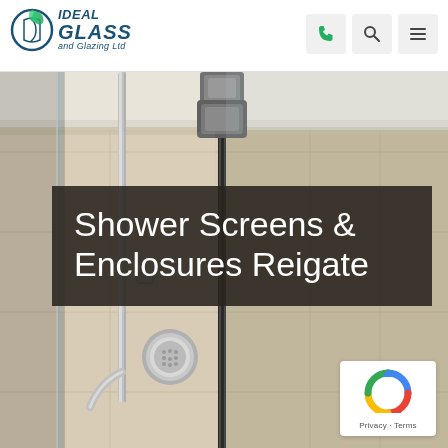Ideal Glass and Glazing Ltd — navigation header with logo, phone, search, and menu icons
[Figure (photo): Close-up photograph of a frameless glass shower enclosure with chrome shower fittings and a marble-effect tiled wall. A vertical metal bracket/clip holds two glass panels at the ceiling. A chrome shower riser rail with hand shower is visible on the left side.]
Shower Screens & Enclosures Reigate